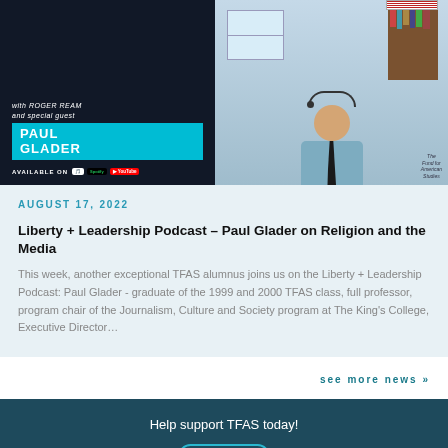[Figure (screenshot): Liberty + Leadership Podcast thumbnail featuring Roger Ream and special guest Paul Glader, with photo of Paul Glader in an office setting, available on Apple Podcasts, Spotify, and YouTube. The Fund for American Studies logo visible.]
AUGUST 17, 2022
Liberty + Leadership Podcast – Paul Glader on Religion and the Media
This week, another exceptional TFAS alumnus joins us on the Liberty + Leadership Podcast: Paul Glader - graduate of the 1999 and 2000 TFAS class, full professor, program chair of the Journalism, Culture and Society program at The King's College, Executive Director…
see more news »
Help support TFAS today!